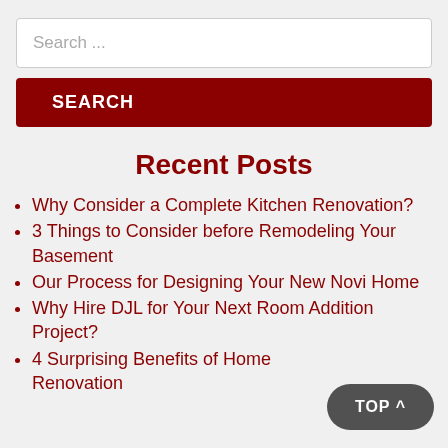Search ...
SEARCH
Recent Posts
Why Consider a Complete Kitchen Renovation?
3 Things to Consider before Remodeling Your Basement
Our Process for Designing Your New Novi Home
Why Hire DJL for Your Next Room Addition Project?
4 Surprising Benefits of Home Renovation